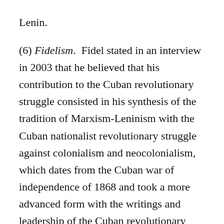Lenin.
(6) Fidelism.  Fidel stated in an interview in 2003 that he believed that his contribution to the Cuban revolutionary struggle consisted in his synthesis of the tradition of Marxism-Leninism with the Cuban nationalist revolutionary struggle against colonialism and neocolonialism, which dates from the Cuban war of independence of 1868 and took a more advanced form with the writings and leadership of the Cuban revolutionary José Martí in the 1880s and 1890s. Although this declaration modestly understates Fidel's historic role, it does get to the heart of the matter.
Put differently, Fidel's contribution to Marxism-Leninism was to adapt it to the neocolonial situation of Cuba, just as Mao adapted Marxism-Leninism to the situation of a once great empire humiliated by